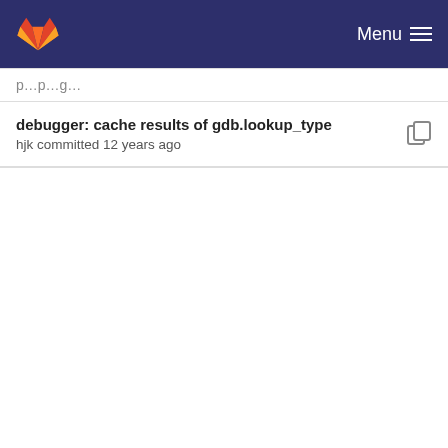GitLab — Menu
debugger: cache results of gdb.lookup_type — hjk committed 12 years ago
debugger: work around spurious additions to gdb.... — hjk committed 12 years ago
debugger: sometimes a gdb.Value does not seem ... — hjk committed 12 years ago
debugger: workaround failing 'info locals' on gdb ... — hjk committed 12 years ago
debugger: cache results of gdb.lookup_type (truncated, partial)